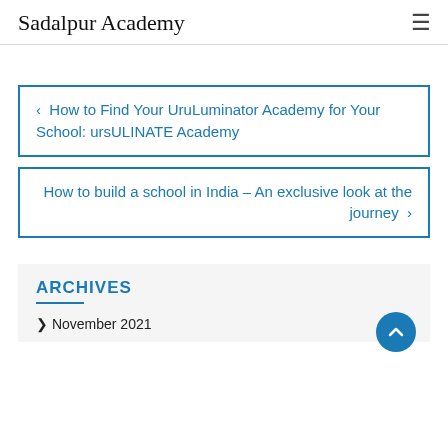Sadalpur Academy
< How to Find Your UruLuminator Academy for Your School: ursULINATE Academy
How to build a school in India – An exclusive look at the journey >
ARCHIVES
> November 2021